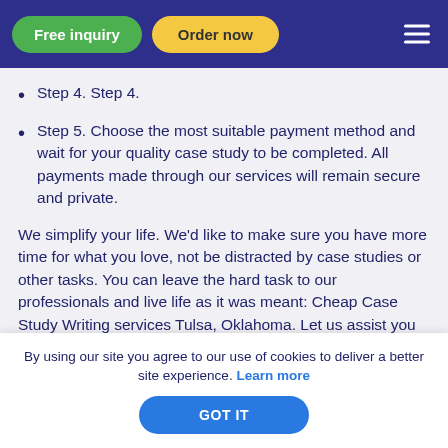Free inquiry | Order now
Step 4. Step 4.
Step 5. Choose the most suitable payment method and wait for your quality case study to be completed. All payments made through our services will remain secure and private.
We simplify your life. We'd like to make sure you have more time for what you love, not be distracted by case studies or other tasks. You can leave the hard task to our professionals and live life as it was meant: Cheap Case Study Writing services Tulsa, Oklahoma. Let us assist you
By using our site you agree to our use of cookies to deliver a better site experience. Learn more
GOT IT